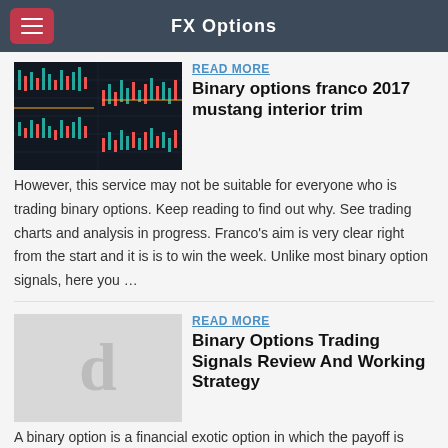FX Options
[Figure (screenshot): Trading chart screenshot showing multiple financial charts with candlestick patterns in dark theme]
READ MORE
Binary options franco 2017 mustang interior trim
However, this service may not be suitable for everyone who is trading binary options. Keep reading to find out why. See trading charts and analysis in progress. Franco's aim is very clear right from the start and it is is to win the week. Unlike most binary option signals, here you …
[Figure (illustration): Grey placeholder box with large letter 'd' in lighter grey]
READ MORE
Binary Options Trading Signals Review And Working Strategy
A binary option is a financial exotic option in which the payoff is either some fixed monetary amount or nothing at all. The two main